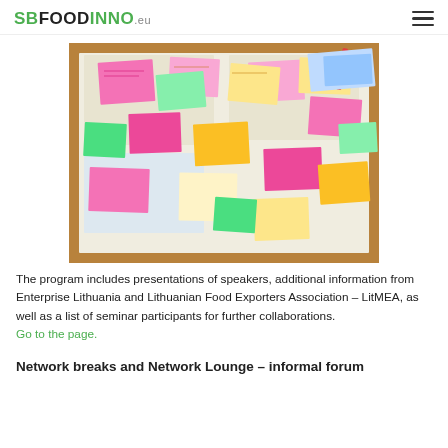SBFOODINNO.eu
[Figure (photo): Overhead view of a table covered with colorful sticky notes (pink, yellow, green) on printed documents/worksheets]
The program includes presentations of speakers, additional information from Enterprise Lithuania and Lithuanian Food Exporters Association – LitMEA, as well as a list of seminar participants for further collaborations. Go to the page.
Network breaks and Network Lounge – informal forum